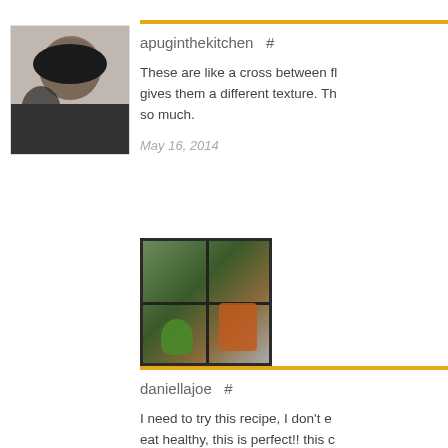[Figure (photo): Profile photo of a woman with dark curly hair]
apuginthekitchen  #
These are like a cross between fl gives them a different texture. Th so much.
May 16, 2014
[Figure (photo): Photo of a window with foliage/plants visible outside]
daniellajoe  #
I need to try this recipe, I don't e eat healthy, this is perfect!! this c
May 16, 2014